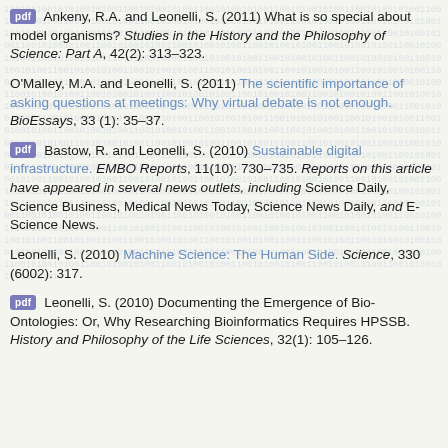[pdf] Ankeny, R.A. and Leonelli, S. (2011) What is so special about model organisms? Studies in the History and the Philosophy of Science: Part A, 42(2): 313–323.
O'Malley, M.A. and Leonelli, S. (2011) The scientific importance of asking questions at meetings: Why virtual debate is not enough. BioEssays, 33 (1): 35–37.
[pdf] Bastow, R. and Leonelli, S. (2010) Sustainable digital infrastructure. EMBO Reports, 11(10): 730–735. Reports on this article have appeared in several news outlets, including Science Daily, Science Business, Medical News Today, Science News Daily, and E-Science News.
Leonelli, S. (2010) Machine Science: The Human Side. Science, 330 (6002): 317.
[pdf] Leonelli, S. (2010) Documenting the Emergence of Bio-Ontologies: Or, Why Researching Bioinformatics Requires HPSSB. History and Philosophy of the Life Sciences, 32(1): 105–126.